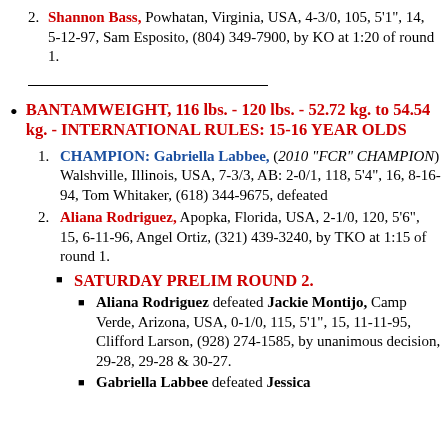2. Shannon Bass, Powhatan, Virginia, USA, 4-3/0, 105, 5'1", 14, 5-12-97, Sam Esposito, (804) 349-7900, by KO at 1:20 of round 1.
BANTAMWEIGHT, 116 lbs. - 120 lbs. - 52.72 kg. to 54.54 kg. - INTERNATIONAL RULES: 15-16 YEAR OLDS
1. CHAMPION: Gabriella Labbee, (2010 "FCR" CHAMPION) Walshville, Illinois, USA, 7-3/3, AB: 2-0/1, 118, 5'4", 16, 8-16-94, Tom Whitaker, (618) 344-9675, defeated
2. Aliana Rodriguez, Apopka, Florida, USA, 2-1/0, 120, 5'6", 15, 6-11-96, Angel Ortiz, (321) 439-3240, by TKO at 1:15 of round 1.
SATURDAY PRELIM ROUND 2.
Aliana Rodriguez defeated Jackie Montijo, Camp Verde, Arizona, USA, 0-1/0, 115, 5'1", 15, 11-11-95, Clifford Larson, (928) 274-1585, by unanimous decision, 29-28, 29-28 & 30-27.
Gabriella Labbee defeated Jessica